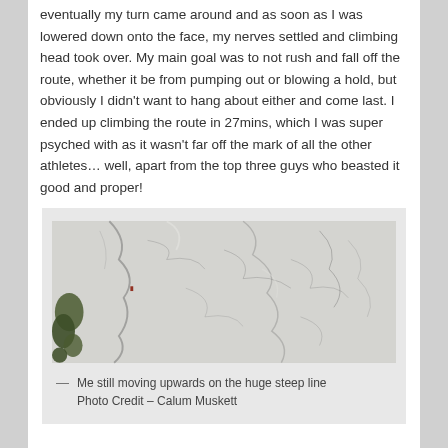eventually my turn came around and as soon as I was lowered down onto the face, my nerves settled and climbing head took over. My main goal was to not rush and fall off the route, whether it be from pumping out or blowing a hold, but obviously I didn't want to hang about either and come last. I ended up climbing the route in 27mins, which I was super psyched with as it wasn't far off the mark of all the other athletes… well, apart from the top three guys who beasted it good and proper!
[Figure (photo): Aerial or long-distance photograph of a huge steep rock face/cliff, light grey/white rock with dark streaks and patches, a small climber figure barely visible on the face]
— Me still moving upwards on the huge steep line
Photo Credit – Calum Muskett